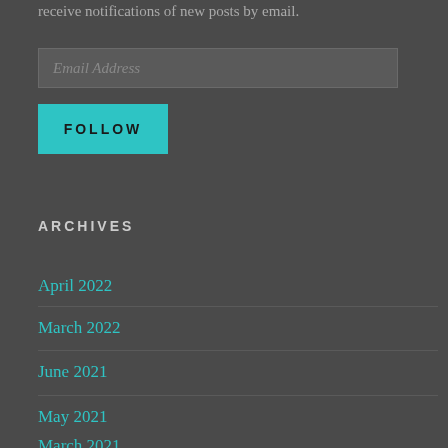receive notifications of new posts by email.
Email Address
FOLLOW
ARCHIVES
April 2022
March 2022
June 2021
May 2021
March 2021